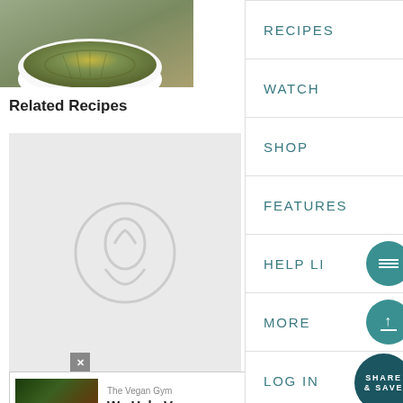[Figure (photo): Bowl of cooked greens or herbs in a white bowl on a gray surface]
Related Recipes
[Figure (photo): Recipe card placeholder with watermark logo icon]
Q's Cakes Brownies
[Figure (screenshot): Navigation menu overlay with items: RECIPES, WATCH, SHOP, FEATURES, HELP LINE, MORE, LOG IN, and circular buttons for menu, scroll up, and SHARE & SAVE]
[Figure (screenshot): Advertisement from The Vegan Gym: We Help Vegans Lose Weight with Open button]